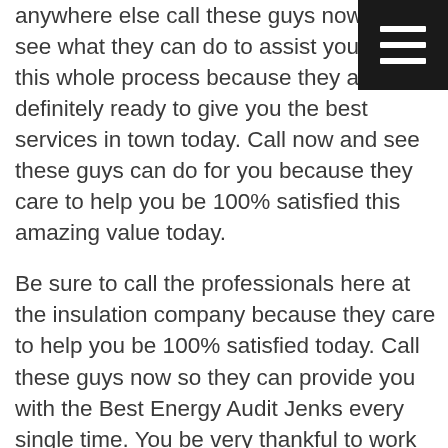[Figure (other): Hamburger menu button icon — black square with three white horizontal bars]
anywhere else call these guys now and see what they can do to assist you with this whole process because they are definitely ready to give you the best services in town today. Call now and see these guys can do for you because they care to help you be 100% satisfied this amazing value today.

Be sure to call the professionals here at the insulation company because they care to help you be 100% satisfied today. Call these guys now so they can provide you with the Best Energy Audit Jenks every single time. You be very thankful to work with these guys because they care to help you be ready for this amazing service